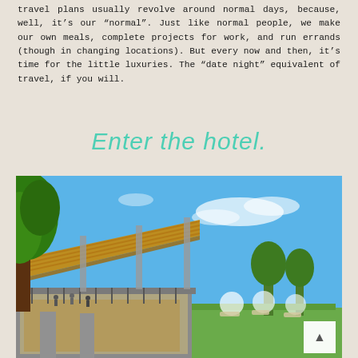travel plans usually revolve around normal days, because, well, it’s our “normal”. Just like normal people, we make our own meals, complete projects for work, and run errands (though in changing locations). But every now and then, it’s time for the little luxuries. The “date night” equivalent of travel, if you will.
Enter the hotel.
[Figure (photo): Outdoor photo of a modern hotel or restaurant building with a distinctive slanted wooden roof canopy structure, a terrace/deck with railings, surrounded by green trees against a bright blue sky. In the background, a garden area with lounge chairs and umbrellas is visible.]